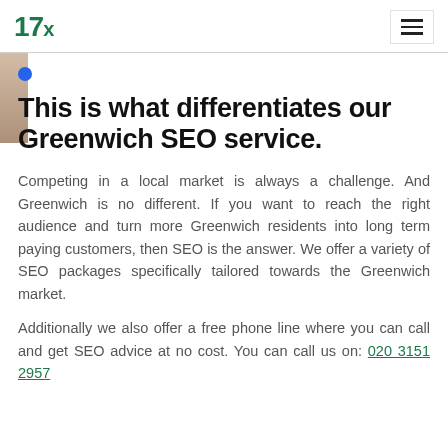17x
This is what differentiates our Greenwich SEO service.
Competing in a local market is always a challenge. And Greenwich is no different. If you want to reach the right audience and turn more Greenwich residents into long term paying customers, then SEO is the answer. We offer a variety of SEO packages specifically tailored towards the Greenwich market.
Additionally we also offer a free phone line where you can call and get SEO advice at no cost. You can call us on: 020 3151 2957